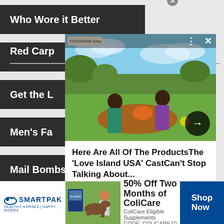Who Wore It Better
Red Carp...
Get the L...
Men's Fa...
Mail Bombs
[Figure (screenshot): Pop-up ad overlay showing a couple on a picnic in a grassy field with text: Here Are All Of The ProductsThe 'Love Island USA' CastCan't Stop Talking About...]
[Figure (photo): SmartPak advertisement banner: 50% Off Two Months of ColiCare, ColiCare Eligible Supplements, CODE: COLICARE10, Shop Now button]